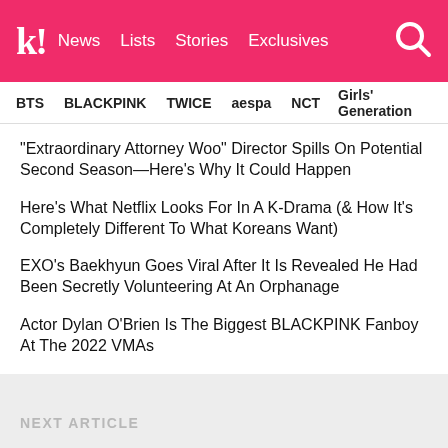k! News Lists Stories Exclusives
BTS BLACKPINK TWICE aespa NCT Girls' Generation
"Extraordinary Attorney Woo" Director Spills On Potential Second Season—Here's Why It Could Happen
Here's What Netflix Looks For In A K-Drama (& How It's Completely Different To What Koreans Want)
EXO's Baekhyun Goes Viral After It Is Revealed He Had Been Secretly Volunteering At An Orphanage
Actor Dylan O'Brien Is The Biggest BLACKPINK Fanboy At The 2022 VMAs
NEXT ARTICLE
Kang So Ra Says She's Finally Ready for a Serious Relationship